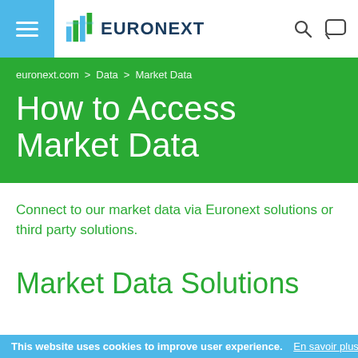EURONEXT
euronext.com > Data > Market Data
How to Access Market Data
Connect to our market data via Euronext solutions or third party solutions.
Market Data Solutions
This website uses cookies to improve user experience. En savoir plus